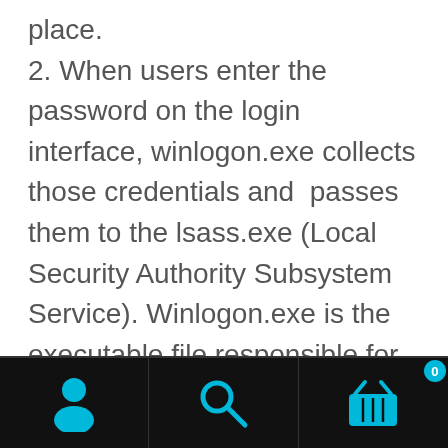place. 2. When users enter the password on the login interface, winlogon.exe collects those credentials and passes them to the lsass.exe (Local Security Authority Subsystem Service). Winlogon.exe is the executable file responsible for managing secure user interactions. The Winlogon service initiates the logon process for Windows operating systems by passing the credentials collected by user action to Lsass.
[Figure (infographic): Mobile app navigation bar with three icons: user/profile icon (cyan), search/magnifying glass icon (cyan), and shopping basket icon (cyan) with a badge showing '0'. Black background bar.]